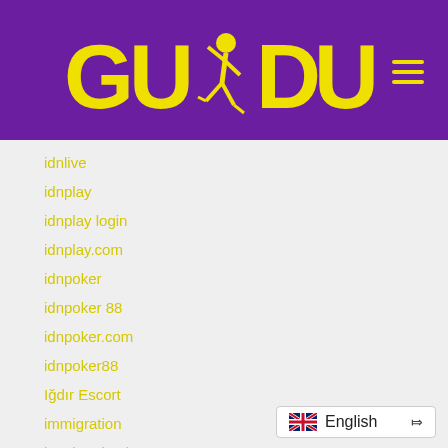[Figure (logo): GUDU logo with yellow text and runner figure on purple background, with hamburger menu icon]
idnlive
idnplay
idnplay login
idnplay.com
idnpoker
idnpoker 88
idnpoker.com
idnpoker88
Iğdır Escort
immigration
immigration law
Immobilien nordzypern
[Figure (screenshot): Language selector widget showing UK flag and English text with dropdown arrow]